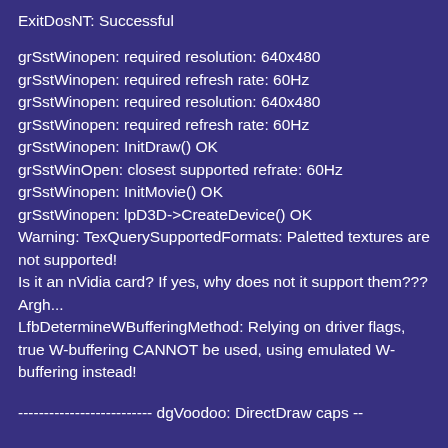ExitDosNT: Successful
grSstWinopen: required resolution: 640x480
grSstWinopen: required refresh rate: 60Hz
grSstWinopen: required resolution: 640x480
grSstWinopen: required refresh rate: 60Hz
grSstWinopen: InitDraw() OK
grSstWinOpen: closest supported refrate: 60Hz
grSstWinopen: InitMovie() OK
grSstWinopen: lpD3D->CreateDevice() OK
Warning: TexQuerySupportedFormats: Paletted textures are not supported!
Is it an nVidia card? If yes, why does not it support them??? Argh...
LfbDetermineWBufferingMethod: Relying on driver flags, true W-buffering CANNOT be used, using emulated W-buffering instead!
-------------------------- dgVoodoo: DirectDraw caps --